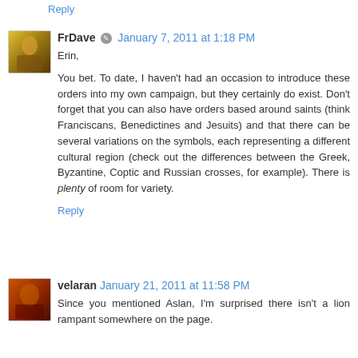Reply
FrDave  January 7, 2011 at 1:18 PM
Erin,
You bet. To date, I haven't had an occasion to introduce these orders into my own campaign, but they certainly do exist. Don't forget that you can also have orders based around saints (think Franciscans, Benedictines and Jesuits) and that there can be several variations on the symbols, each representing a different cultural region (check out the differences between the Greek, Byzantine, Coptic and Russian crosses, for example). There is plenty of room for variety.
Reply
velaran  January 21, 2011 at 11:58 PM
Since you mentioned Aslan, I'm surprised there isn't a lion rampant somewhere on the page.